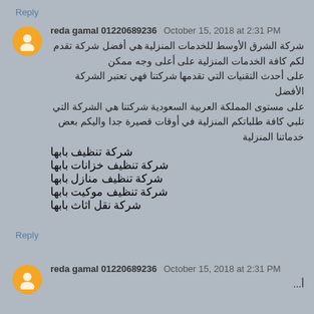Reply
reda gamal 01220689236 October 15, 2018 at 2:31 PM
شركة الشرق الأوسط للخدمات المنزلية هي أفضل شركة تقدم لكم كافة الخدمات المنزلية على أعلى وجه ممكن على أحدث التقنيات التي تقدمها شركتنا فهي تعتبر الشركة الأفضل على مستوى المملكة العربية السعودية شركتنا هي الشركة التي تلبي كافة طلباتكم المنزلية في أوقات قصيرة جدا واليكم بعض خدماتنا المنزلية
شركة تنظيف بابها
شركة تنظيف خزانات بابها
شركة تنظيف منازل بابها
شركة تنظيف موكيت بابها
شركة نقل اثاث بابها
Reply
reda gamal 01220689236 October 15, 2018 at 2:31 PM
أ...